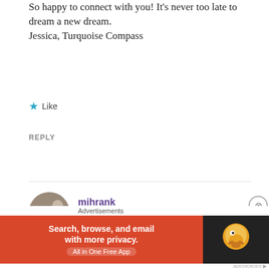So happy to connect with you! It's never too late to dream a new dream.
Jessica, Turquoise Compass
★ Like
REPLY
mihrank
DECEMBER 29, 2014 AT 3:32 AM
Thank you for dropping by and following my page, I appreciate it!
[Figure (other): DuckDuckGo advertisement banner: orange section with text 'Search, browse, and email with more privacy. All in One Free App', dark section with DuckDuckGo duck logo]